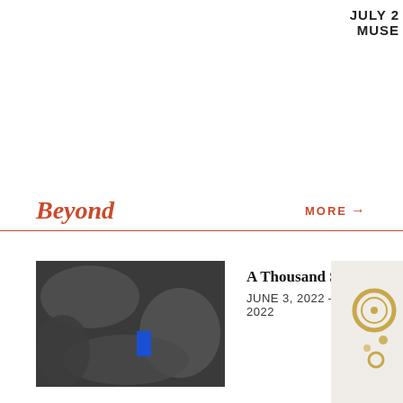JULY 2
MUSE
Beyond
MORE →
[Figure (photo): Black and white textured photo with a small blue rectangle overlay]
A Thousand Secrets
JUNE 3, 2022 – JULY 31, 2022
[Figure (photo): Partial view of decorative gold/jewelry item on light background]